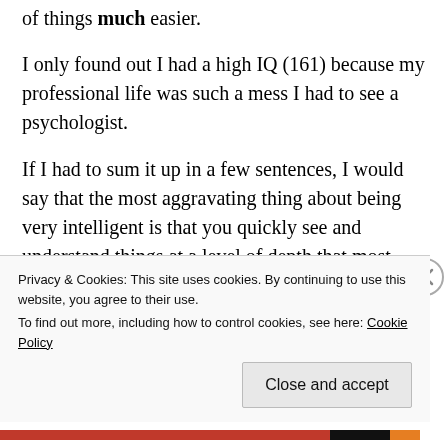of things much easier.
I only found out I had a high IQ (161) because my professional life was such a mess I had to see a psychologist.
If I had to sum it up in a few sentences, I would say that the most aggravating thing about being very intelligent is that you quickly see and understand things at a level of depth that most people don't (or can't), and it is very frustrating.  You want to move on, you want to be
Privacy & Cookies: This site uses cookies. By continuing to use this website, you agree to their use.
To find out more, including how to control cookies, see here: Cookie Policy